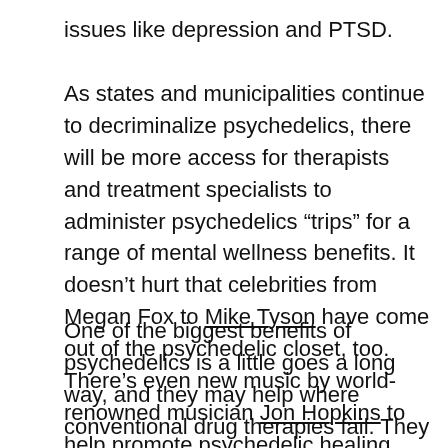issues like depression and PTSD.
As states and municipalities continue to decriminalize psychedelics, there will be more access for therapists and treatment specialists to administer psychedelics “trips” for a range of mental wellness benefits. It doesn’t hurt that celebrities from Megan Fox to Mike Tyson have come out of the psychedelic closet, too. There’s even new music by world-renowned musician Jon Hopkins to help promote psychedelic healing.
One of the biggest benefits of psychedelics is a little goes a long way, and they may help where conventional drug therapies fail. They also often impart a deep sense of connection with the natural world, something all of